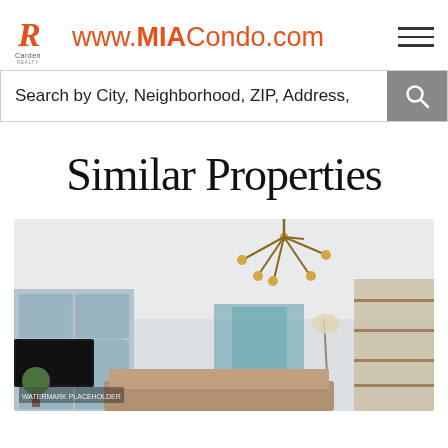www.MIACondo.com
Search by City, Neighborhood, ZIP, Address,
Similar Properties
[Figure (photo): Interior photo of a modern condo living room with large windows showing city view, a sputnik-style brass chandelier, wall-mounted TV, sofa, artwork, and shelving unit.]